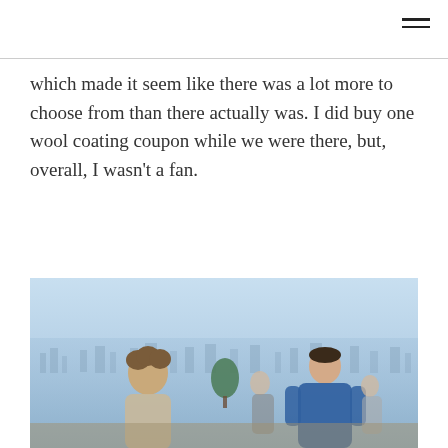which made it seem like there was a lot more to choose from than there actually was. I did buy one wool coating coupon while we were there, but, overall, I wasn't a fan.
[Figure (photo): People standing at a scenic overlook with a panoramic view of a city in the background. A person in a blue jacket is seen from behind, and another person with curly hair is in the foreground. A small tree is visible among the crowd.]